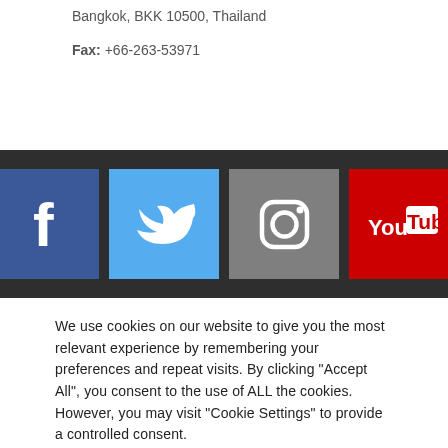Bangkok, BKK 10500, Thailand
Fax: +66-263-53971
[Figure (infographic): Dark banner with four social media icons: Facebook (dark blue), Twitter (light blue), Instagram (gray), YouTube (red)]
We use cookies on our website to give you the most relevant experience by remembering your preferences and repeat visits. By clicking "Accept All", you consent to the use of ALL the cookies. However, you may visit "Cookie Settings" to provide a controlled consent.
Cookie Settings | Accept All